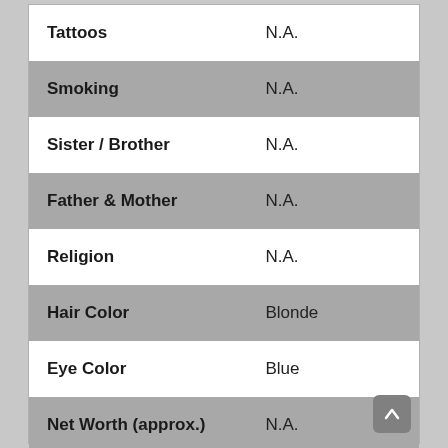| Attribute | Value |
| --- | --- |
| Tattoos | N.A. |
| Smoking | N.A. |
| Sister / Brother | N.A. |
| Father & Mother | N.A. |
| Religion | N.A. |
| Hair Color | Blonde |
| Eye Color | Blue |
| Net Worth (approx.) | N.A. |